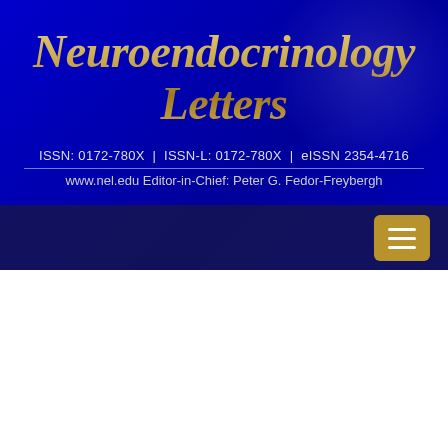[Figure (screenshot): Neuroendocrinology Letters journal website header with blue gradient background showing journal title in gold italic serif font]
Neuroendocrinology Letters
ISSN: 0172-780X  |  ISSN-L: 0172-780X  |  eISSN 2354-4716
www.nel.edu Editor-in-Chief: Peter G. Fedor-Freybergh
Search NEL Online
Carcinogens:administration
Sort by relevance: sort by newest
Search in: All fields